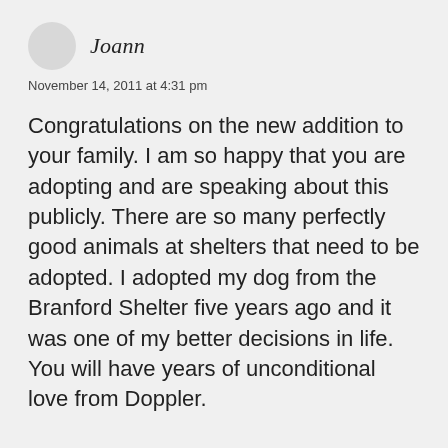Joann
November 14, 2011 at 4:31 pm
Congratulations on the new addition to your family. I am so happy that you are adopting and are speaking about this publicly. There are so many perfectly good animals at shelters that need to be adopted. I adopted my dog from the Branford Shelter five years ago and it was one of my better decisions in life. You will have years of unconditional love from Doppler.